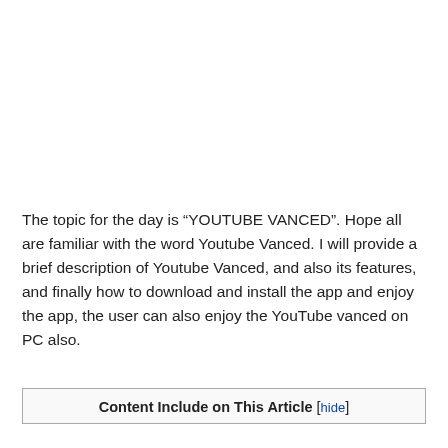The topic for the day is “YOUTUBE VANCED”. Hope all are familiar with the word Youtube Vanced. I will provide a brief description of Youtube Vanced, and also its features, and finally how to download and install the app and enjoy the app, the user can also enjoy the YouTube vanced on PC also.
Content Include on This Article [hide]